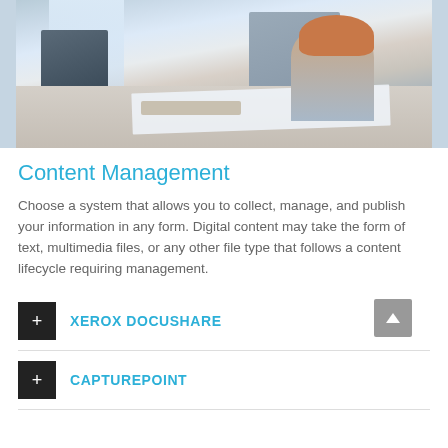[Figure (photo): Woman leaning over a desk with blueprints and a keyboard, Xerox printer visible in background, office setting]
Content Management
Choose a system that allows you to collect, manage, and publish your information in any form. Digital content may take the form of text, multimedia files, or any other file type that follows a content lifecycle requiring management.
+ XEROX DOCUSHARE
+ CAPTUREPOINT